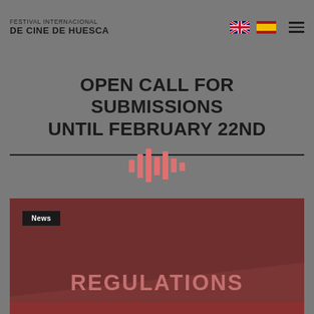FESTIVAL INTERNACIONAL DE CINE DE HUESCA
OPEN CALL FOR SUBMISSIONS UNTIL FEBRUARY 22ND
[Figure (infographic): Audio waveform icon in salmon/coral pink color]
[Figure (infographic): News card with dark red background, diagonal graphic slash, News label tag, and REGULATIONS text]
REGULATIONS